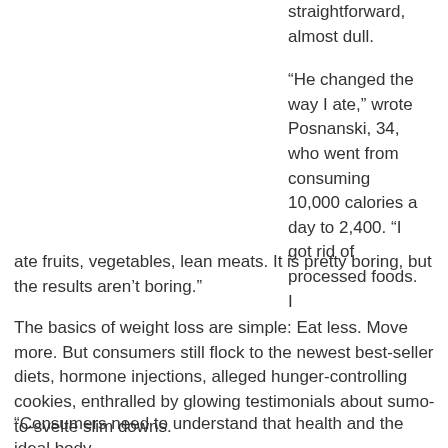straightforward, almost dull.
“He changed the way I ate,” wrote Posnanski, 34, who went from consuming 10,000 calories a day to 2,400. “I got rid of processed foods. I ate fruits, vegetables, lean meats. It is pretty boring, but the results aren’t boring.”
The basics of weight loss are simple: Eat less. Move more. But consumers still flock to the newest best-seller diets, hormone injections, alleged hunger-controlling cookies, enthralled by glowing testimonials about sumo-to-svelte slim downs.
“There’s nothing sexy about ‘eat your fruits and vegetables,’ ” said Keri Gans, a registered dietitian. “We want to hear something else.”
“Consumers need to understand that health and the ideal body